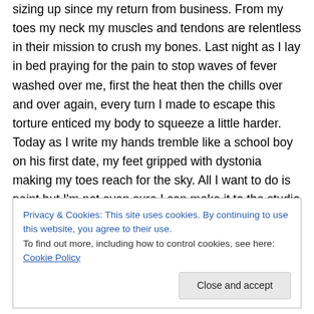sizing up since my return from business. From my toes my neck my muscles and tendons are relentless in their mission to crush my bones. Last night as I lay in bed praying for the pain to stop waves of fever washed over me, first the heat then the chills over and over again, every turn I made to escape this torture enticed my body to squeeze a little harder. Today as I write my hands tremble like a school boy on his first date, my feet gripped with dystonia making my toes reach for the sky. All I want to do is paint but I'm not even sure I can make it to the studio 2 floors down( note to self, next house one level) or find a
Privacy & Cookies: This site uses cookies. By continuing to use this website, you agree to their use.
To find out more, including how to control cookies, see here: Cookie Policy